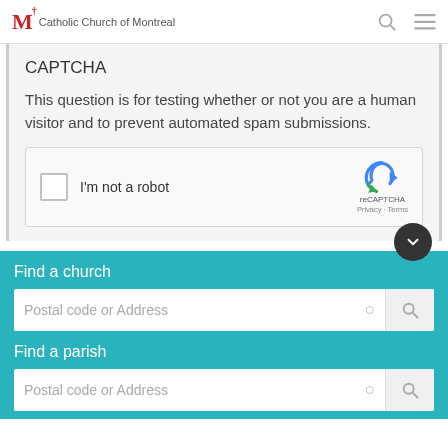Catholic Church of Montreal
CAPTCHA
This question is for testing whether or not you are a human visitor and to prevent automated spam submissions.
[Figure (screenshot): reCAPTCHA widget with checkbox labeled I'm not a robot and reCAPTCHA branding with Privacy and Terms links]
Find a church
Postal code or Address
Find a parish
Postal code or Address